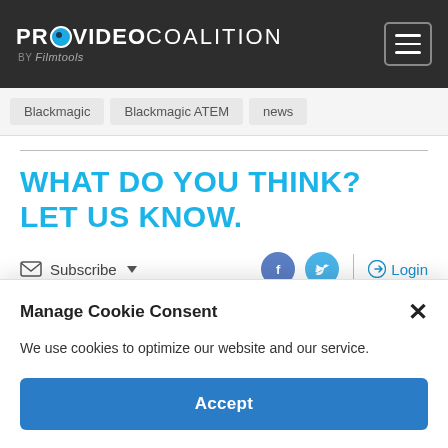PROVIDEO COALITION BY Filmtools
Blackmagic | Blackmagic ATEM | news
WHAT DO YOU THINK? LET US KNOW.
Subscribe ▾
Login
Manage Cookie Consent
We use cookies to optimize our website and our service.
Accept